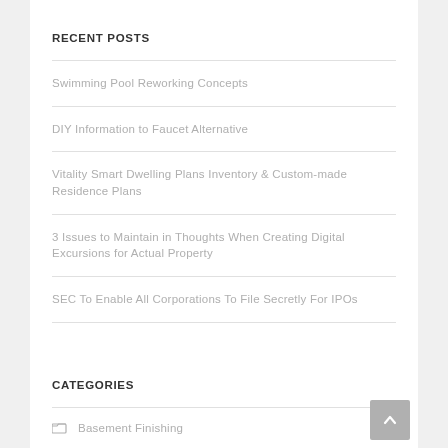RECENT POSTS
Swimming Pool Reworking Concepts
DIY Information to Faucet Alternative
Vitality Smart Dwelling Plans Inventory & Custom-made Residence Plans
3 Issues to Maintain in Thoughts When Creating Digital Excursions for Actual Property
SEC To Enable All Corporations To File Secretly For IPOs
CATEGORIES
Basement Finishing